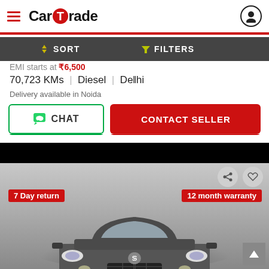[Figure (screenshot): CarTrade app header with hamburger menu, CarTrade logo, and profile icon]
[Figure (screenshot): Sort and Filters toolbar in dark gray]
70,723 KMs | Diesel | Delhi
Delivery available in Noida
[Figure (screenshot): CHAT button with WhatsApp icon and CONTACT SELLER red button]
[Figure (photo): Front view of a grey Maruti Suzuki Swift hatchback car on a photo studio floor, with 7 Day return badge on left and 12 month warranty badge on right]